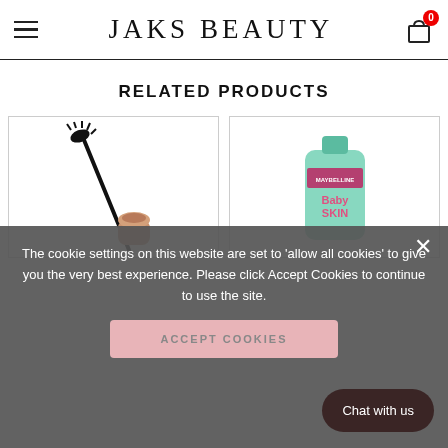JAKS BEAUTY
RELATED PRODUCTS
[Figure (photo): Product card showing a mascara brush and tube (Jaks Beauty product) on white background]
[Figure (photo): Product card showing a Maybelline Baby Skin tube (mint/green packaging) on white background]
The cookie settings on this website are set to 'allow all cookies' to give you the very best experience. Please click Accept Cookies to continue to use the site.
ACCEPT COOKIES
Chat with us